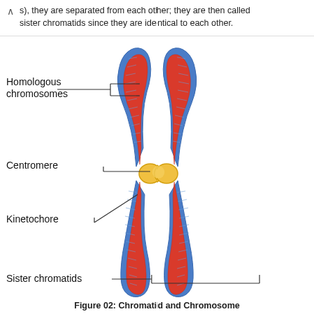s), they are separated from each other; they are then called sister chromatids since they are identical to each other.
[Figure (illustration): Diagram of homologous chromosomes showing two pairs of sister chromatids joined at the centromere (shown in yellow/gold). Labels point to: Homologous chromosomes (top left bracket), Centromere (middle left, pointing to the yellow junction), Kinetochore (lower left, pointing to the junction area), Sister chromatids (bottom left bracket pointing to lower chromatid pair). The chromatids are depicted in red (inner) and blue (outer textured) colors forming an X shape.]
Figure 02: Chromatid and Chromosome